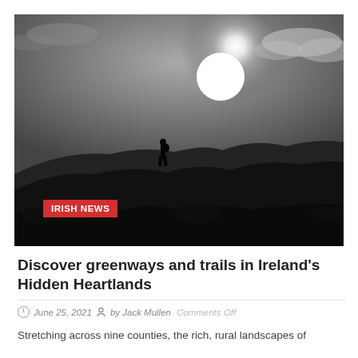[Figure (photo): Black and white photograph of a person silhouetted on a hilltop against a bright sun in a cloudy sky, with dark vegetation in the foreground. A red 'IRISH NEWS' badge overlays the lower-left of the image.]
Discover greenways and trails in Ireland's Hidden Heartlands
June 25, 2021   by Jack Mullen   Comments Off
Stretching across nine counties, the rich, rural landscapes of